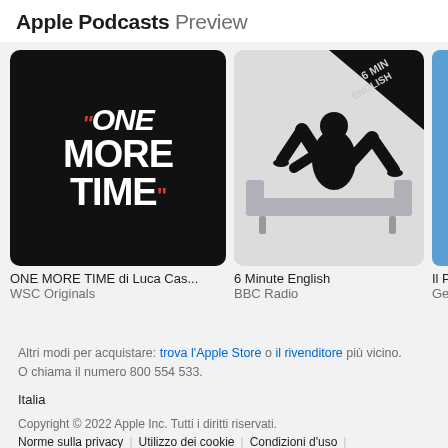Apple Podcasts Preview
[Figure (photo): Podcast artwork for ONE MORE TIME di Luca Cas... showing bold white text on black background with red quotation marks]
[Figure (illustration): Podcast artwork for 6 Minute English BBC Radio showing silhouette of person sitting on sofa]
[Figure (photo): Partial podcast artwork Il P... Ge... in blue]
ONE MORE TIME di Luca Cas...
WSC Originals
6 Minute English
BBC Radio
Il P
Ge
Altri modi per acquistare: trova l'Apple Store o il rivenditore più vicino. O chiama il numero 800 554 533.
Italia
Copyright © 2022 Apple Inc. Tutti i diritti riservati.
Norme sulla privacy | Utilizzo dei cookie | Condizioni d'uso | Vendite e rimborsi | Note legali | Mappa del sito